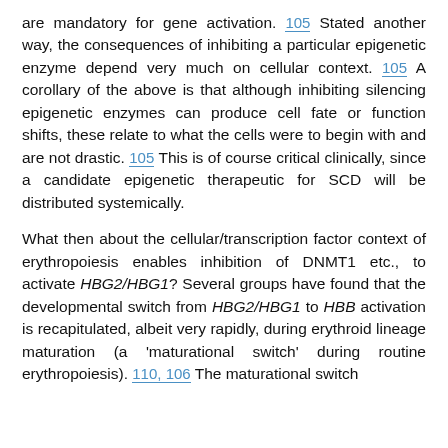are mandatory for gene activation. 105 Stated another way, the consequences of inhibiting a particular epigenetic enzyme depend very much on cellular context. 105 A corollary of the above is that although inhibiting silencing epigenetic enzymes can produce cell fate or function shifts, these relate to what the cells were to begin with and are not drastic. 105 This is of course critical clinically, since a candidate epigenetic therapeutic for SCD will be distributed systemically.
What then about the cellular/transcription factor context of erythropoiesis enables inhibition of DNMT1 etc., to activate HBG2/HBG1? Several groups have found that the developmental switch from HBG2/HBG1 to HBB activation is recapitulated, albeit very rapidly, during erythroid lineage maturation (a 'maturational switch' during routine erythropoiesis). 110, 106 The maturational switch